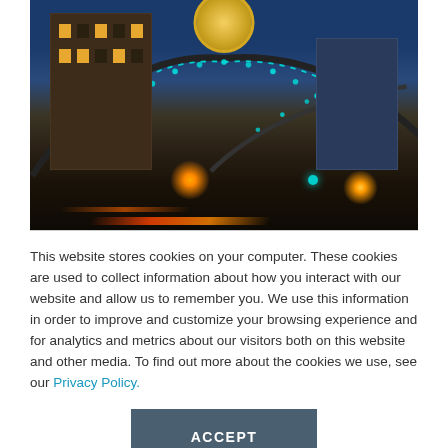[Figure (photo): Nighttime city street photo showing illuminated multi-story buildings, an arched structure decorated with teal/blue LED lights spanning the street, orange street lamp light bursts, red light streaks from traffic, and a gold medallion badge at top center.]
This website stores cookies on your computer. These cookies are used to collect information about how you interact with our website and allow us to remember you. We use this information in order to improve and customize your browsing experience and for analytics and metrics about our visitors both on this website and other media. To find out more about the cookies we use, see our Privacy Policy.
ACCEPT